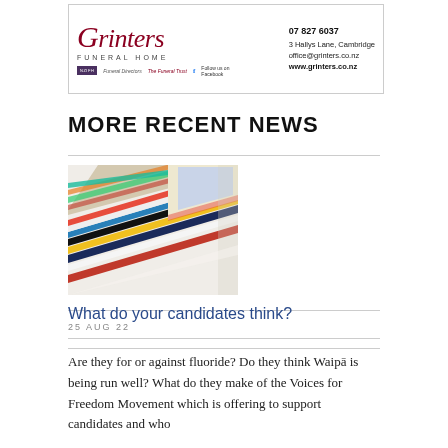[Figure (advertisement): Grinter's Funeral Home advertisement with logo, contact details (07 827 6037, 3 Hallys Lane Cambridge, office@grinters.co.nz, www.grinters.co.nz), and social media follow prompt.]
MORE RECENT NEWS
[Figure (photo): Stack of colorful magazines viewed from the side, showing multicolored spines fanned out.]
What do your candidates think?
25 AUG 22
Are they for or against fluoride? Do they think Waipā is being run well? What do they make of the Voices for Freedom Movement which is offering to support candidates and who